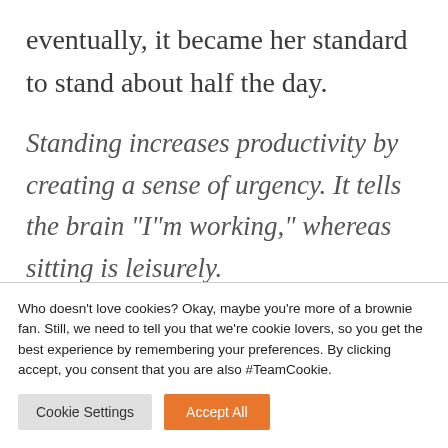eventually, it became her standard to stand about half the day.
Standing increases productivity by creating a sense of urgency. It tells the brain “I”m working,” whereas sitting is leisurely.
Who doesn't love cookies? Okay, maybe you're more of a brownie fan. Still, we need to tell you that we're cookie lovers, so you get the best experience by remembering your preferences. By clicking accept, you consent that you are also #TeamCookie.